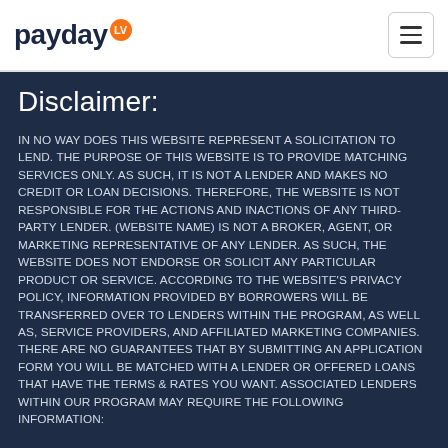payday LV
Disclaimer:
IN NO WAY DOES THIS WEBSITE REPRESENT A SOLICITATION TO LEND. THE PURPOSE OF THIS WEBSITE IS TO PROVIDE MATCHING SERVICES ONLY. AS SUCH, IT IS NOT A LENDER AND MAKES NO CREDIT OR LOAN DECISIONS. THEREFORE, THE WEBSITE IS NOT RESPONSIBLE FOR THE ACTIONS AND INACTIONS OF ANY THIRD-PARTY LENDER. (WEBSITE NAME) IS NOT A BROKER, AGENT, OR MARKETING REPRESENTATIVE OF ANY LENDER. AS SUCH, THE WEBSITE DOES NOT ENDORSE OR SOLICIT ANY PARTICULAR PRODUCT OR SERVICE. ACCORDING TO THE WEBSITE'S PRIVACY POLICY, INFORMATION PROVIDED BY BORROWERS WILL BE TRANSFERRED OVER TO LENDERS WITHIN THE PROGRAM, AS WELL AS, SERVICE PROVIDERS, AND AFFILIATED MARKETING COMPANIES. THERE ARE NO GUARANTEES THAT BY SUBMITTING AN APPLICATION FORM YOU WILL BE MATCHED WITH A LENDER OR OFFERED LOANS THAT HAVE THE TERMS & RATES YOU WANT. ASSOCIATED LENDERS WITHIN OUR PROGRAM MAY REQUIRE THE FOLLOWING INFORMATION: